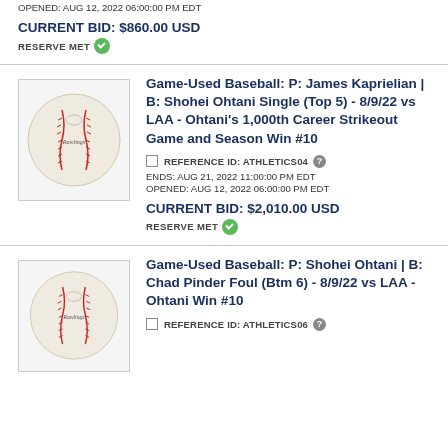OPENED: AUG 12, 2022 06:00:00 PM EDT
CURRENT BID: $860.00 USD
RESERVE MET
Game-Used Baseball: P: James Kaprielian | B: Shohei Ohtani Single (Top 5) - 8/9/22 vs LAA - Ohtani's 1,000th Career Strikeout Game and Season Win #10
[Figure (photo): Photo of a game-used Rawlings baseball]
REFERENCE ID: ATHLETICS04
ENDS: AUG 21, 2022 11:00:00 PM EDT
OPENED: AUG 12, 2022 06:00:00 PM EDT
CURRENT BID: $2,010.00 USD
RESERVE MET
Game-Used Baseball: P: Shohei Ohtani | B: Chad Pinder Foul (Btm 6) - 8/9/22 vs LAA - Ohtani Win #10
[Figure (photo): Photo of a game-used Rawlings baseball]
REFERENCE ID: ATHLETICS06